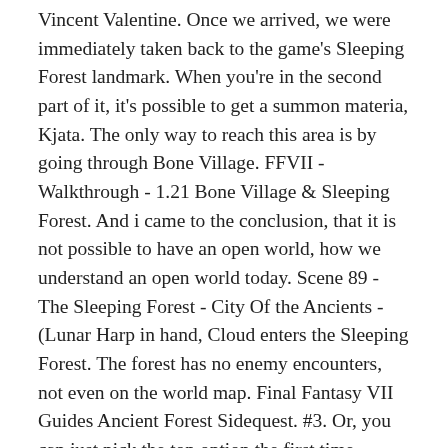Vincent Valentine. Once we arrived, we were immediately taken back to the game's Sleeping Forest landmark. When you're in the second part of it, it's possible to get a summon materia, Kjata. The only way to reach this area is by going through Bone Village. FFVII - Walkthrough - 1.21 Bone Village & Sleeping Forest. And i came to the conclusion, that it is not possible to have an open world, how we understand an open world today. Scene 89 - The Sleeping Forest - City Of the Ancients - (Lunar Harp in hand, Cloud enters the Sleeping Forest. The forest has no enemy encounters, not even on the world map. Final Fantasy VII Guides Ancient Forest Sidequest. #3. Or, you can just pick the top option the first time around, go to sleep, and when you wake up in the night, grab the materia (it's easier to see at night, too). The Ancient Forest is a hidden location in Final Fantasy VII situated on a plateau in the Cosmo Area just south east of Cosmo Canyon.The player can get there by a green, black, or gold chocobo.When the Ultimate Weapon is defeated, it leaves a crater that allows the player to reach the forest by foot.. If the